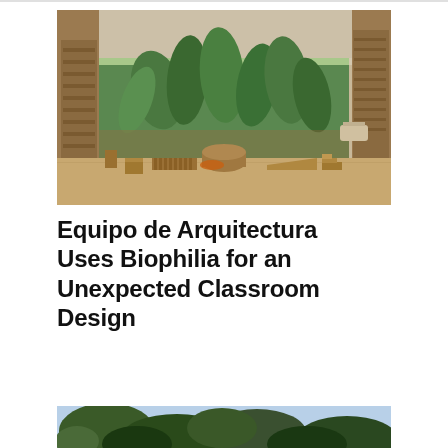[Figure (photo): Interior of a biophilic classroom with wooden furniture and play elements, open to a lush garden of tropical plants through a large glass wall. Wooden shelving on both sides, concrete ceiling.]
Equipo de Arquitectura Uses Biophilia for an Unexpected Classroom Design
[Figure (photo): Exterior view of a building partially visible through dense green trees against a blue sky.]